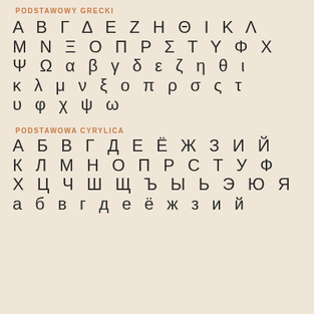PODSTAWOWY GRECKI
Α Β Γ Δ Ε Ζ Η Θ Ι Κ Λ
Μ Ν Ξ Ο Π Ρ Σ Τ Υ Φ Χ
Ψ Ω α β γ δ ε ζ η θ ι
κ λ μ ν ξ ο π ρ σ ς τ
υ φ χ ψ ω
PODSTAWOWA CYRYLICA
А Б В Г Д Е Ё Ж З И Й
К Л М Н О П Р С Т У Ф
Х Ц Ч Ш Щ Ъ Ы Ь Э Ю Я
а б в г д е ё ж з и й